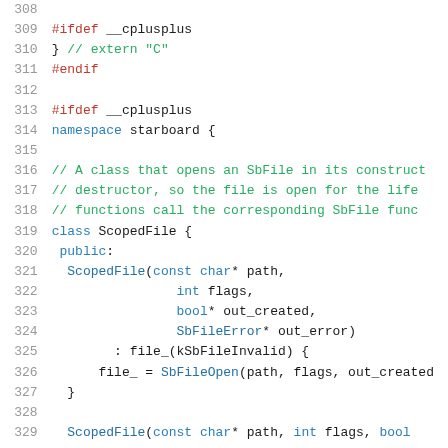Source code listing lines 308-329, C++ header file with ScopedFile class definition